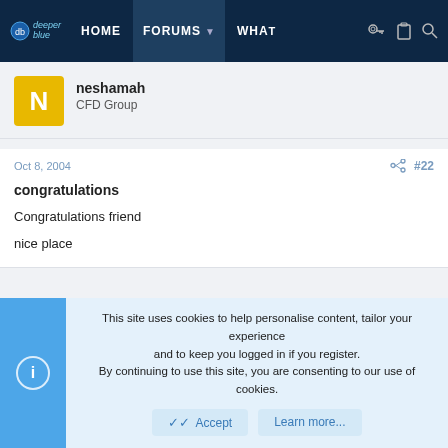deeper blue | HOME | FORUMS | WHAT
neshamah
CFD Group
Oct 8, 2004  #22
congratulations
Congratulations friend

nice place
This site uses cookies to help personalise content, tailor your experience and to keep you logged in if you register.
By continuing to use this site, you are consenting to our use of cookies.
Accept  Learn more...